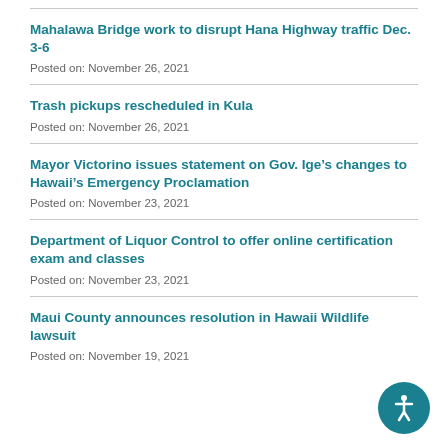Mahalawa Bridge work to disrupt Hana Highway traffic Dec. 3-6
Posted on: November 26, 2021
Trash pickups rescheduled in Kula
Posted on: November 26, 2021
Mayor Victorino issues statement on Gov. Ige’s changes to Hawaii’s Emergency Proclamation
Posted on: November 23, 2021
Department of Liquor Control to offer online certification exam and classes
Posted on: November 23, 2021
Maui County announces resolution in Hawaii Wildlife lawsuit
Posted on: November 19, 2021